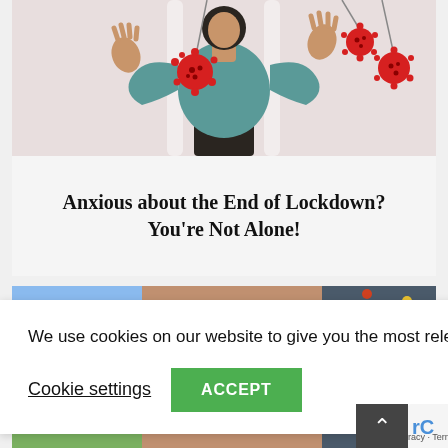[Figure (illustration): Illustration of a person in a teal sweater with arms raised, surrounded by red coronavirus particles hanging from strings, on a light pinkish-grey background]
Anxious about the End of Lockdown? You're Not Alone!
[Figure (photo): Photo collage strip: climbing wall with colorful holds on the right, landscape photo bottom left, group photo bottom center]
We use cookies on our website to give you the most relevant experience.
Cookie settings  ACCEPT